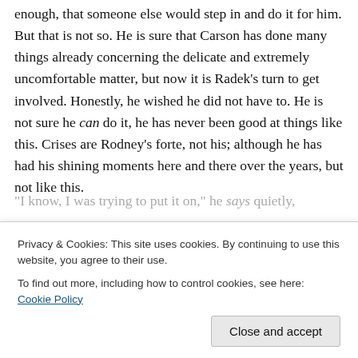enough, that someone else would step in and do it for him. But that is not so. He is sure that Carson has done many things already concerning the delicate and extremely uncomfortable matter, but now it is Radek's turn to get involved. Honestly, he wished he did not have to. He is not sure he can do it, he has never been good at things like this. Crises are Rodney's forte, not his; although he has had his shining moments here and there over the years, but not like this.
Teyla and Ronon begin to wonder if what the two are talking about might have nothing to do with the original...
"I know, I was trying to put it on," he says quietly,
[Figure (other): Cookie consent banner overlay with text: 'Privacy & Cookies: This site uses cookies. By continuing to use this website, you agree to their use. To find out more, including how to control cookies, see here: Cookie Policy' and a 'Close and accept' button.]